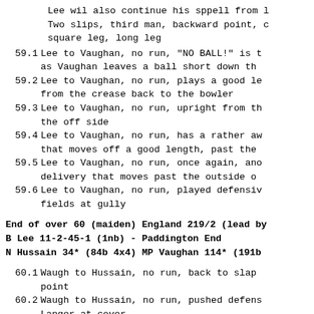Lee wil also continue his sppell from l
Two slips, third man, backward point, c
square leg, long leg
59.1 Lee to Vaughan, no run, "NO BALL!" is t
as Vaughan leaves a ball short down th
59.2 Lee to Vaughan, no run, plays a good le
from the crease back to the bowler
59.3 Lee to Vaughan, no run, upright from th
the off side
59.4 Lee to Vaughan, no run, has a rather aw
that moves off a good length, past the
59.5 Lee to Vaughan, no run, once again, ano
delivery that moves past the outside o
59.6 Lee to Vaughan, no run, played defensiv
fields at gully
End of over 60 (maiden) England 219/2 (lead by
B Lee 11-2-45-1 (1nb) - Paddington End
N Hussain 34* (84b 4x4) MP Vaughan 114* (191b
60.1 Waugh to Hussain, no run, back to slap
point
60.2 Waugh to Hussain, no run, pushed defens
Langer at cover
60.3 Waugh to Hussain, no run, lets a short